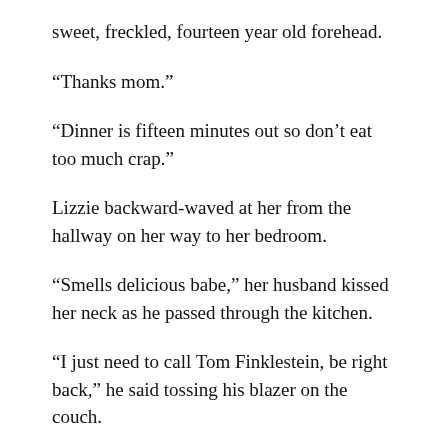sweet, freckled, fourteen year old forehead.
“Thanks mom.”
“Dinner is fifteen minutes out so don’t eat too much crap.”
Lizzie backward-waved at her from the hallway on her way to her bedroom.
“Smells delicious babe,” her husband kissed her neck as he passed through the kitchen.
“I just need to call Tom Finklestein, be right back,” he said tossing his blazer on the couch.